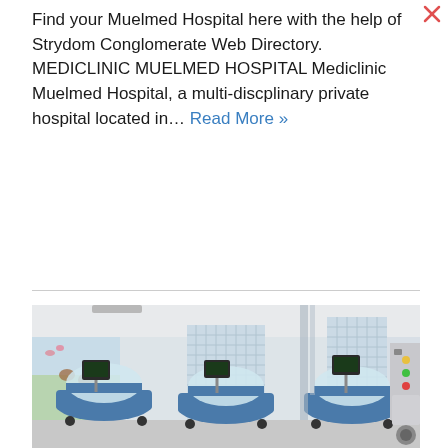Find your Muelmed Hospital here with the help of Strydom Conglomerate Web Directory. MEDICLINIC MUELMED HOSPITAL Mediclinic Muelmed Hospital, a multi-discplinary private hospital located in… Read More »
[Figure (photo): Hospital neonatal/NICU ward showing three blue incubators with monitoring equipment, glass block windows in background, decorated wall with children's motifs on left side]